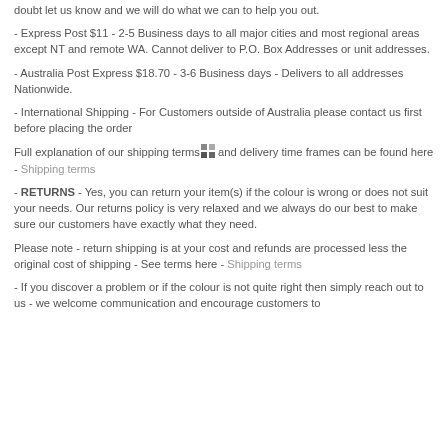doubt let us know and we will do what we can to help you out.
- Express Post $11 - 2-5 Business days to all major cities and most regional areas except NT and remote WA. Cannot deliver to P.O. Box Addresses or unit addresses.
- Australia Post Express $18.70 - 3-6 Business days - Delivers to all addresses Nationwide.
- International Shipping - For Customers outside of Australia please contact us first before placing the order
Full explanation of our shipping terms and delivery time frames can be found here - Shipping terms
- RETURNS - Yes, you can return your item(s) if the colour is wrong or does not suit your needs. Our returns policy is very relaxed and we always do our best to make sure our customers have exactly what they need.
Please note - return shipping is at your cost and refunds are processed less the original cost of shipping - See terms here - Shipping terms
- If you discover a problem or if the colour is not quite right then simply reach out to us - we welcome communication and encourage customers to